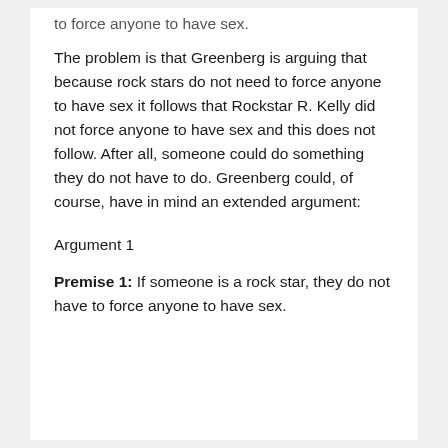to force anyone to have sex.
The problem is that Greenberg is arguing that because rock stars do not need to force anyone to have sex it follows that Rockstar R. Kelly did not force anyone to have sex and this does not follow. After all, someone could do something they do not have to do. Greenberg could, of course, have in mind an extended argument:
Argument 1
Premise 1: If someone is a rock star, they do not have to force anyone to have sex.